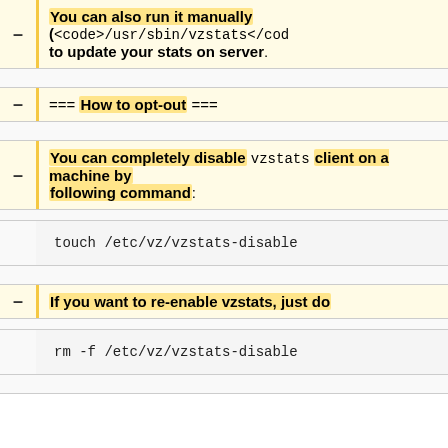You can also run it manually (<code>/usr/sbin/vzstats</code>) to update your stats on server.
=== How to opt-out ===
You can completely disable vzstats client on a machine by following command:
touch /etc/vz/vzstats-disable
If you want to re-enable vzstats, just do
rm -f /etc/vz/vzstats-disable